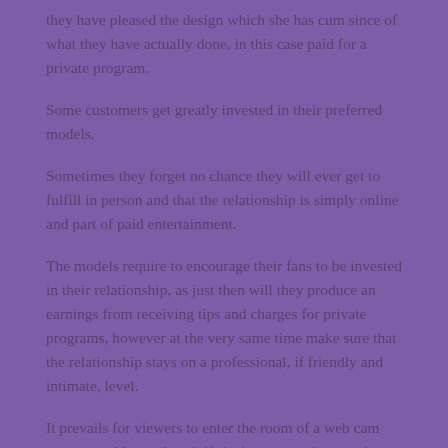they have pleased the design which she has cum since of what they have actually done, in this case paid for a private program.
Some customers get greatly invested in their preferred models.
Sometimes they forget no chance they will ever get to fulfill in person and that the relationship is simply online and part of paid entertainment.
The models require to encourage their fans to be invested in their relationship, as just then will they produce an earnings from receiving tips and charges for private programs, however at the very same time make sure that the relationship stays on a professional, if friendly and intimate, level.
It prevails for viewers to enter the room of a web cam woman and instantly ask if she has a sweetheart or is married, and ask where she lives. How Tonaee Who Your Followers Are On Chaturbate